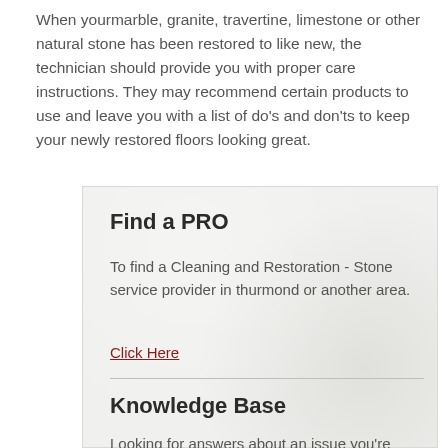When yourmarble, granite, travertine, limestone or other natural stone has been restored to like new, the technician should provide you with proper care instructions. They may recommend certain products to use and leave you with a list of do's and don'ts to keep your newly restored floors looking great.
Find a PRO
To find a Cleaning and Restoration - Stone service provider in thurmond or another area.
Click Here
Knowledge Base
Looking for answers about an issue you're facing? Check out our Knowledge Base.